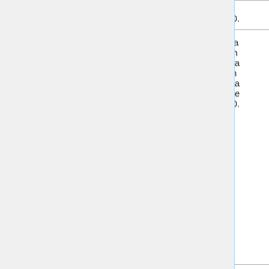| Name | Type | Description |
| --- | --- | --- |
| Comic Yuri Hime S | magazine | wa... Th... ma... sh... ma... me... 20... |
| Commonweal Lodge | independent school | Co... be... Pu... 20... |
|  |  | Co... the... ma... Ba... inc... re... alb... Ot... |